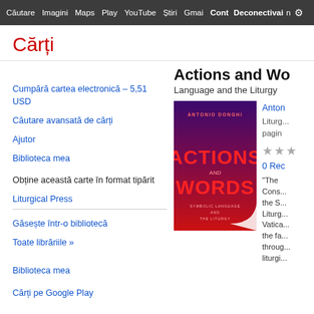Căutare  Imagini  Maps  Play  YouTube  Știri  Gmail  Cont  Deconectare  Mai mult  ⚙
Cărți
Cumpără cartea electronică – 5,51 USD
Căutare avansată de cărți
Ajutor
Biblioteca mea
Obține această carte în format tipărit
Liturgical Press
Găsește într-o bibliotecă
Toate librăriile »
Biblioteca mea
Cărți pe Google Play
Actions and Wo...
Language and the Liturgy...
[Figure (illustration): Book cover of 'Actions and Words: Symbolic Language and the Liturgy' by Antonio Donghi - dark purple to red gradient background with bold red text]
Anton...
Liturg... pagin...
0 Rec...
"The Cons... the S... Liturg... Vatica... the fa... throug... liturgi...